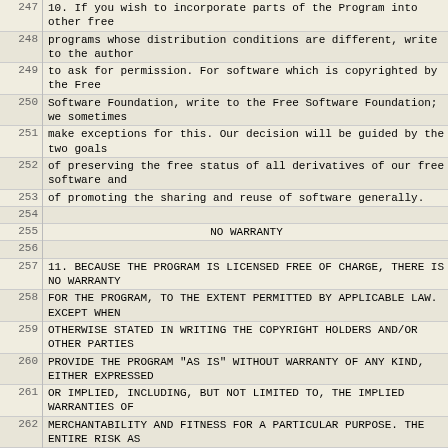| Line | Text |
| --- | --- |
| 247 | 10. If you wish to incorporate parts of the Program into other free |
| 248 | programs whose distribution conditions are different, write to the author |
| 249 | to ask for permission.  For software which is copyrighted by the Free |
| 250 | Software Foundation, write to the Free Software Foundation; we sometimes |
| 251 | make exceptions for this.  Our decision will be guided by the two goals |
| 252 | of preserving the free status of all derivatives of our free software and |
| 253 | of promoting the sharing and reuse of software generally. |
| 254 |  |
| 255 |                      NO WARRANTY |
| 256 |  |
| 257 |   11. BECAUSE THE PROGRAM IS LICENSED FREE OF CHARGE, THERE IS NO WARRANTY |
| 258 | FOR THE PROGRAM, TO THE EXTENT PERMITTED BY APPLICABLE LAW.  EXCEPT WHEN |
| 259 | OTHERWISE STATED IN WRITING THE COPYRIGHT HOLDERS AND/OR OTHER PARTIES |
| 260 | PROVIDE THE PROGRAM "AS IS" WITHOUT WARRANTY OF ANY KIND, EITHER EXPRESSED |
| 261 | OR IMPLIED, INCLUDING, BUT NOT LIMITED TO, THE IMPLIED WARRANTIES OF |
| 262 | MERCHANTABILITY AND FITNESS FOR A PARTICULAR PURPOSE.  THE ENTIRE RISK AS |
| 263 | TO THE QUALITY AND PERFORMANCE OF THE PROGRAM IS WITH YOU.  SHOULD THE |
| 264 | PROGRAM PROVE DEFECTIVE, YOU ASSUME THE COST OF ALL NECESSARY SERVICING, |
| 265 | REPAIR OR CORRECTION. |
| 266 |  |